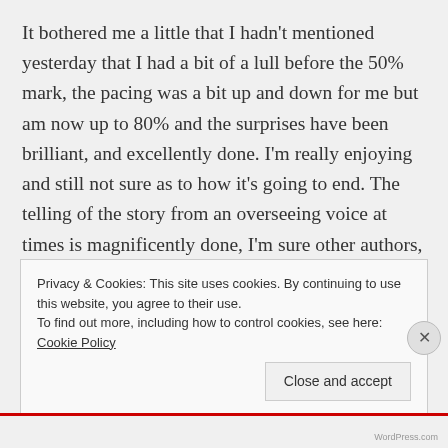It bothered me a little that I hadn't mentioned yesterday that I had a bit of a lull before the 50% mark, the pacing was a bit up and down for me but am now up to 80% and the surprises have been brilliant, and excellently done. I'm really enjoying and still not sure as to how it's going to end. The telling of the story from an overseeing voice at times is magnificently done, I'm sure other authors, had they seen that it could have been done this way, could have tried to do it for the whole book, but I don't think it would have worked, the different characters points of views put with this voice work gorgeously.
Privacy & Cookies: This site uses cookies. By continuing to use this website, you agree to their use.
To find out more, including how to control cookies, see here: Cookie Policy
Close and accept